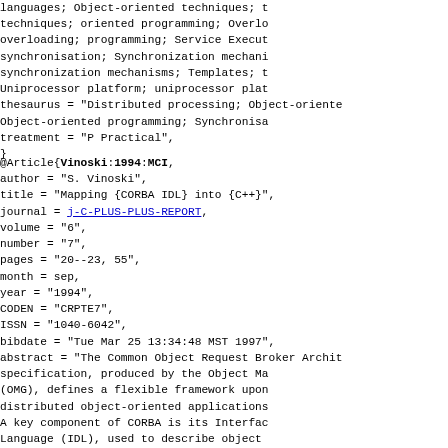languages; Object-oriented techniques; techniques; oriented programming; Overloading; overloading; programming; Service Execution; synchronisation; Synchronization mechanisms; synchronization mechanisms; Templates; t Uniprocessor platform; uniprocessor platform;
thesaurus = "Distributed processing; Object-oriented; Object-oriented programming; Synchronisa
treatment = "P Practical",
}
@Article{Vinoski:1994:MCI,
  author = "S. Vinoski",
  title = "Mapping {CORBA IDL} into {C++}",
  journal = j-C-PLUS-PLUS-REPORT,
  volume = "6",
  number = "7",
  pages = "20--23, 55",
  month = sep,
  year = "1994",
  CODEN = "CRPTE7",
  ISSN = "1040-6042",
  bibdate = "Tue Mar 25 13:34:48 MST 1997",
  abstract = "The Common Object Request Broker Architecture specification, produced by the Object Management Group (OMG), defines a flexible framework upon which distributed object-oriented applications are built. A key component of CORBA is its Interface Definition Language (IDL), used to describe object interfaces and specify the services they provide. IDL